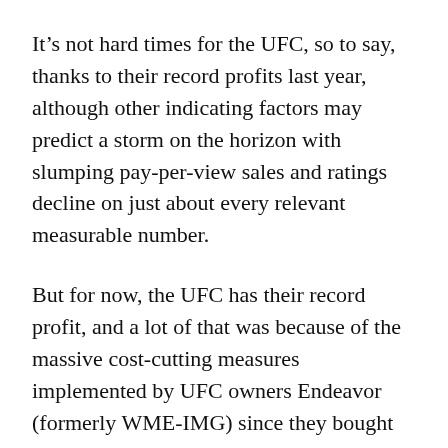It’s not hard times for the UFC, so to say, thanks to their record profits last year, although other indicating factors may predict a storm on the horizon with slumping pay-per-view sales and ratings decline on just about every relevant measurable number.
But for now, the UFC has their record profit, and a lot of that was because of the massive cost-cutting measures implemented by UFC owners Endeavor (formerly WME-IMG) since they bought the company in 2016.
Just like the rest of the MMA world, it appears Kavanagh will need the “Notorious” megastar